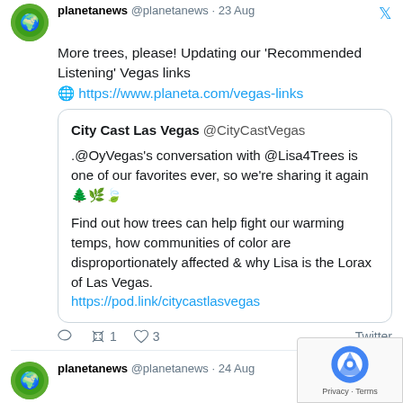More trees, please! Updating our 'Recommended Listening' Vegas links 🌐 https://www.planeta.com/vegas-links
City Cast Las Vegas @CityCastVegas .@OyVegas's conversation with @Lisa4Trees is one of our favorites ever, so we're sharing it again 🌲🌿🍃

Find out how trees can help fight our warming temps, how communities of color are disproportionately affected & why Lisa is the Lorax of Las Vegas. https://pod.link/citycastlasvegas
planetanews @planetanews · 24 Aug Actually, today Wednesday is the 24th! Saludo Costa Rica! 🇨🇷